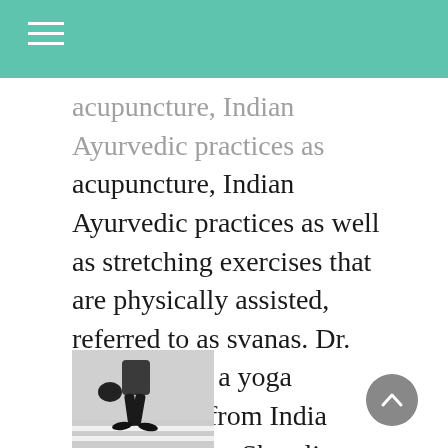acupuncture, Indian Ayurvedic practices as well as stretching exercises that are physically assisted, referred to as svanas. Dr. Gorakhnath, a yoga practitioner from India discovered the Shen lines (assyutanic) concept. His discoveries were important in the science of health. After his death, his students began studying his various svanas. They are energy-veins which flow along the surface of the body.
[Figure (photo): Black and white photo thumbnail showing a person walking, visible from approximately waist down, carrying a bag, on a striped surface.]